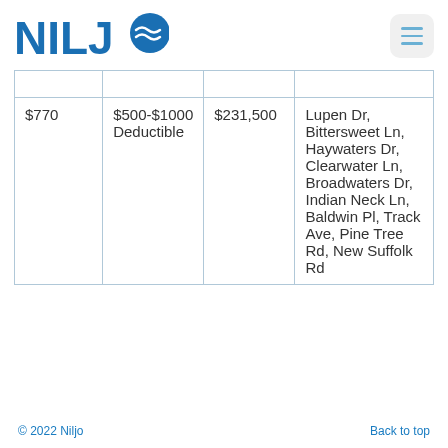NILJO
|  |  |  |  |
| $770 | $500-$1000 Deductible | $231,500 | Lupen Dr, Bittersweet Ln, Haywaters Dr, Clearwater Ln, Broadwaters Dr, Indian Neck Ln, Baldwin Pl, Track Ave, Pine Tree Rd, New Suffolk Rd |
© 2022 Niljo   Back to top